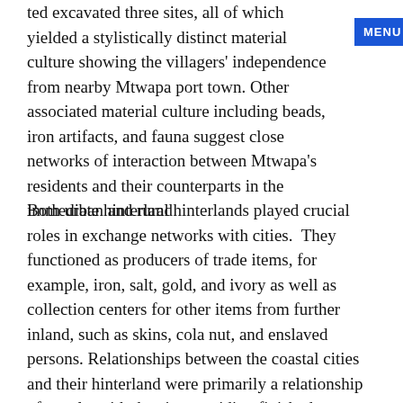ted excavated three sites, all of which yielded a stylistically distinct material culture showing the villagers' independence from nearby Mtwapa port town. Other associated material culture including beads, iron artifacts, and fauna suggest close networks of interaction between Mtwapa's residents and their counterparts in the immediate hinterland
Both urban and rural hinterlands played crucial roles in exchange networks with cities. They functioned as producers of trade items, for example, iron, salt, gold, and ivory as well as collection centers for other items from further inland, such as skins, cola nut, and enslaved persons. Relationships between the coastal cities and their hinterland were primarily a relationship of equals, with the city providing finished manufactured goods in exchange for hinterland products, inducing the hinterland to enter into the regional economy voluntarily. To get the maximum profit from trade proceeds, the city sought to produce as many